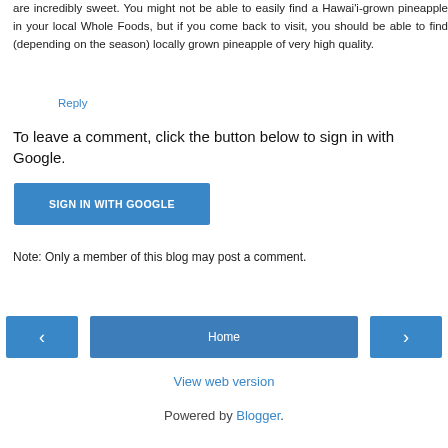are incredibly sweet. You might not be able to easily find a Hawai'i-grown pineapple in your local Whole Foods, but if you come back to visit, you should be able to find (depending on the season) locally grown pineapple of very high quality.
Reply
To leave a comment, click the button below to sign in with Google.
[Figure (other): SIGN IN WITH GOOGLE button (blue rectangular button)]
Note: Only a member of this blog may post a comment.
[Figure (other): Navigation bar with left arrow button, Home button, and right arrow button]
View web version
Powered by Blogger.